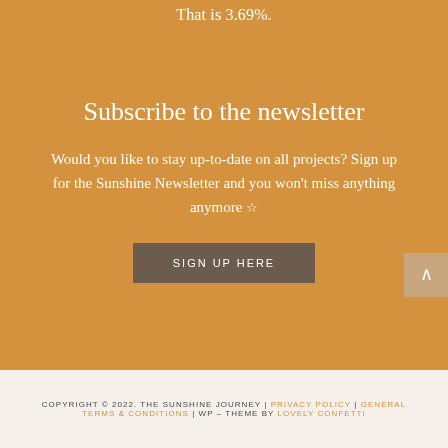That is 3.69%.
Subscribe to the newsletter
Would you like to stay up-to-date on all projects? Sign up for the Sunshine Newsletter and you won't miss anything anymore ☆
SIGN UP HERE
COPYRIGHT © 2022. THE SUNSHINE JOURNEY | PRIVACY POLICY | GENERAL TERMS & CONDITIONS | WP – THEME BY LOVELY CONFETTI